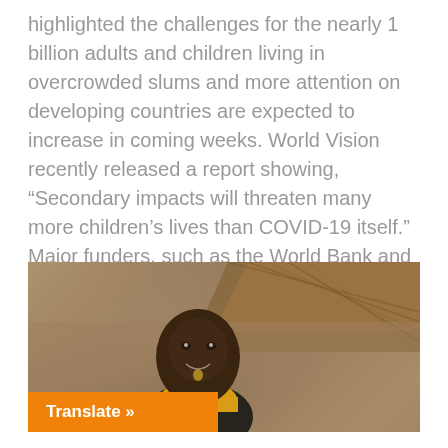highlighted the challenges for the nearly 1 billion adults and children living in overcrowded slums and more attention on developing countries are expected to increase in coming weeks. World Vision recently released a report showing, “Secondary impacts will threaten many more children’s lives than COVID-19 itself.” Major funders, such as the World Bank and U.S. government, are now providing billions to help developing countries. Children in [...]
[Figure (photo): An elderly African person standing in front of a thatched-roof hut, wearing a yellow and black sleeveless shirt, with a child partially visible in front of them.]